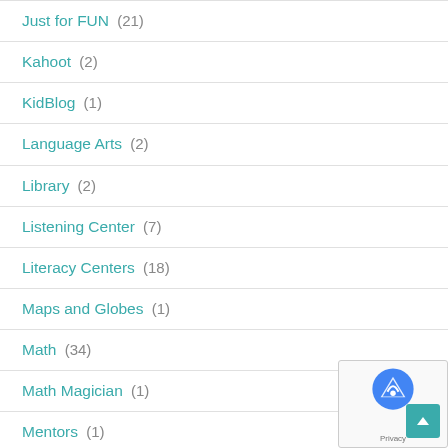Just for FUN (21)
Kahoot (2)
KidBlog (1)
Language Arts (2)
Library (2)
Listening Center (7)
Literacy Centers (18)
Maps and Globes (1)
Math (34)
Math Magician (1)
Mentors (1)
Mermaids (1)
Mindset (1)